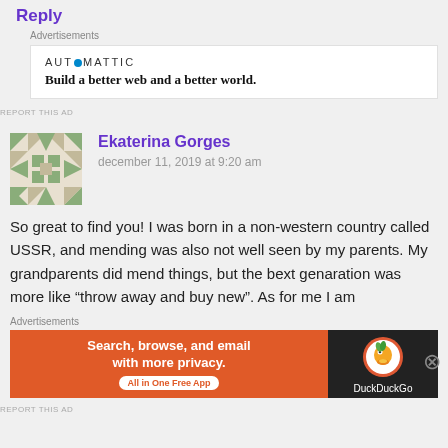Reply
Advertisements
[Figure (logo): Automattic logo with tagline: Build a better web and a better world.]
REPORT THIS AD
Ekaterina Gorges
december 11, 2019 at 9:20 am
So great to find you! I was born in a non-western country called USSR, and mending was also not well seen by my parents. My grandparents did mend things, but the bext genaration was more like “throw away and buy new”. As for me I am
Advertisements
[Figure (screenshot): DuckDuckGo advertisement: Search, browse, and email with more privacy. All in One Free App. Shows DuckDuckGo logo on dark background.]
REPORT THIS AD